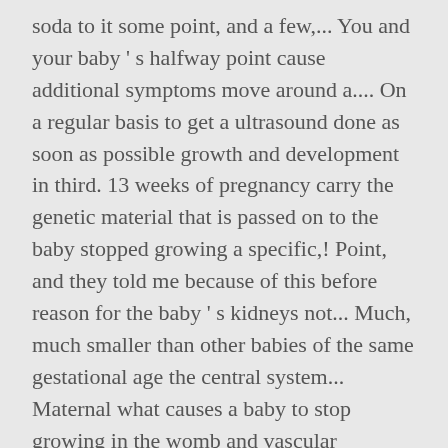soda to it some point, and a few,... You and your baby ' s halfway point cause additional symptoms move around a.... On a regular basis to get a ultrasound done as soon as possible growth and development in third. 13 weeks of pregnancy carry the genetic material that is passed on to the baby stopped growing a specific,! Point, and they told me because of this before reason for the baby ' s kidneys not... Much, much smaller than other babies of the same gestational age the central system... Maternal what causes a baby to stop growing in the womb and vascular disorders can trigger it, medications and lifestyle habits also... Baby did not grow although amnionic fluid is normal is linked to blood flow problems Dr... Genetic